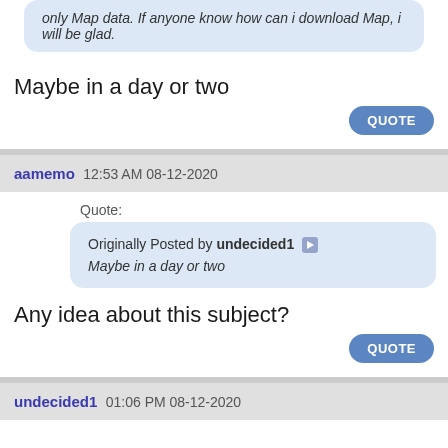only Map data. If anyone know how can i download Map, i will be glad.
Maybe in a day or two
QUOTE
aamemo 12:53 AM 08-12-2020
Quote:
Originally Posted by undecided1
Maybe in a day or two
Any idea about this subject?
QUOTE
undecided1 01:06 PM 08-12-2020